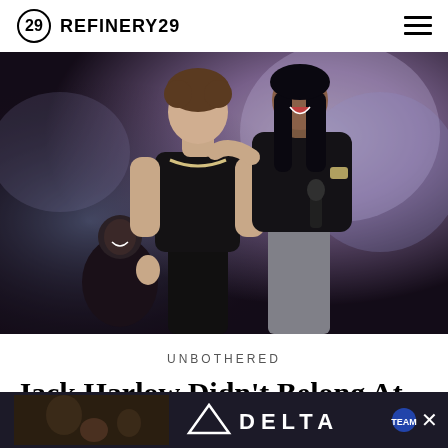REFINERY29
[Figure (photo): Two performers on stage. A tall man in a black sleeveless top with a chain necklace has his arm around a woman who is laughing and holding a microphone, wearing a black jacket and grey jeans. A background dancer in black is visible at lower left. Purple and blue smoky stage lighting in background.]
UNBOTHERED
Jack Harlow Didn't Belong At The
[Figure (screenshot): Delta Airlines advertisement banner at the bottom of the page showing a man, woman, and child with the Delta logo and airline branding on a dark background.]